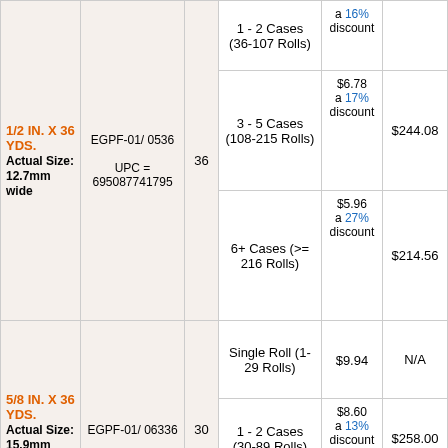| Product | SKU/UPC | Rolls/Case | Quantity | Price/Roll | Case Price |
| --- | --- | --- | --- | --- | --- |
| 1/2 IN. X 36 YDS.
Actual Size: 12.7mm wide | EGPF-01/ 0536
UPC = 695087741795 | 36 | 1 - 2 Cases (36-107 Rolls) | $8.21 a 16% discount | $247.22 (cropped) |
|  |  | 36 | 3 - 5 Cases (108-215 Rolls) | $6.78 a 17% discount | $244.08 |
|  |  | 36 | 6+ Cases (>= 216 Rolls) | $5.96 a 27% discount | $214.56 |
| 5/8 IN. X 36 YDS.
Actual Size: 15.9mm wide | EGPF-01/ 06336 | 30 | Single Roll (1-29 Rolls) | $9.94 | N/A |
|  |  | 30 | 1 - 2 Cases (30-89 Rolls) | $8.60 a 13% discount | $258.00 |
|  |  | 30 | 3 - 5 Cases (90-179 Rolls) | $8.47 a 15% discount | $254.10 |